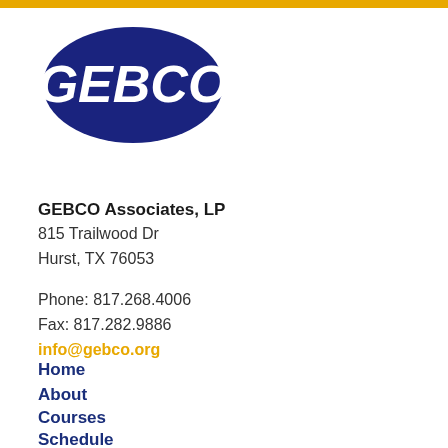[Figure (logo): GEBCO logo: dark navy blue oval with white italic bold text 'GEBCO']
GEBCO Associates, LP
815 Trailwood Dr
Hurst, TX 76053
Phone: 817.268.4006
Fax: 817.282.9886
info@gebco.org
Home
About
Courses
Schedule
Registration Info